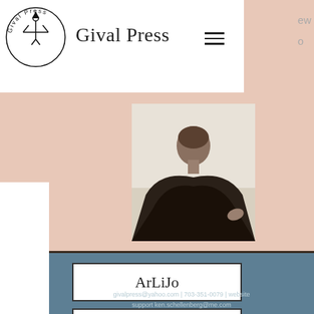[Figure (logo): Gival Press circular logo with bird/arrow design and text around the circle]
Gival Press
[Figure (photo): Black and white photo of a person seen from behind, sitting, short hair]
ArLiJo
Facebook
Twitter
givalpress@yahoo.com | 703-351-0079 | website support ken.schellenberg@me.com